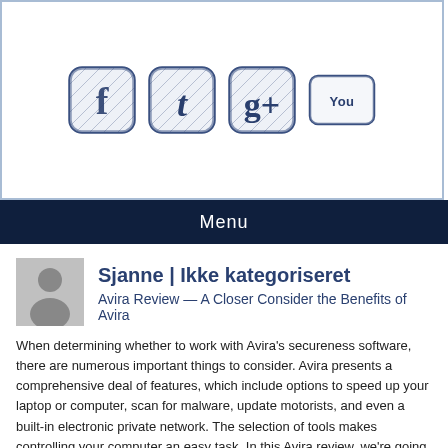[Figure (illustration): Social media icons: Facebook, Twitter, Google+, YouTube rendered in a hand-drawn sketch style in dark blue/navy color]
Menu
Sjanne | Ikke kategoriseret
Avira Review — A Closer Consider the Benefits of Avira
When determining whether to work with Avira's secureness software, there are numerous important things to consider. Avira presents a comprehensive deal of features, which include options to speed up your laptop or computer, scan for malware, update motorists, and even a built-in electronic private network. The selection of tools makes controlling your computer an easy task. In this Avira review, we're going take a better look at the great things about Avira and what you can expect from this.